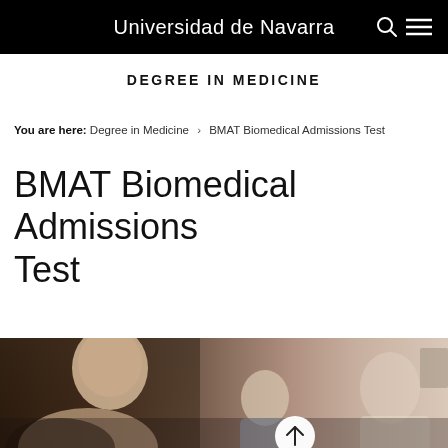Universidad de Navarra
DEGREE IN MEDICINE
You are here: Degree in Medicine > BMAT Biomedical Admissions Test
BMAT Biomedical Admissions Test
[Figure (photo): Photo of medical professionals examining a patient, with a scroll-to-top button overlaid]